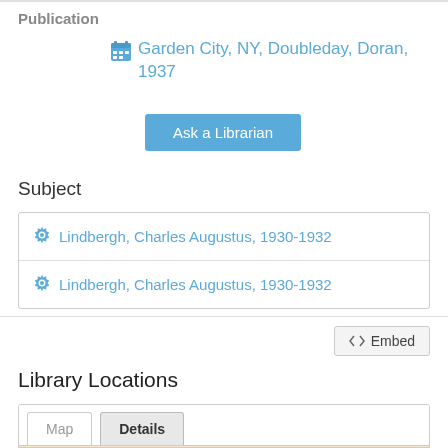Publication
Garden City, NY, Doubleday, Doran, 1937
Ask a Librarian
Subject
Lindbergh, Charles Augustus, 1930-1932
Lindbergh, Charles Augustus, 1930-1932
Embed
Library Locations
[Figure (map): Map tab interface with 'Map' and 'Details' tabs, map area partially visible]